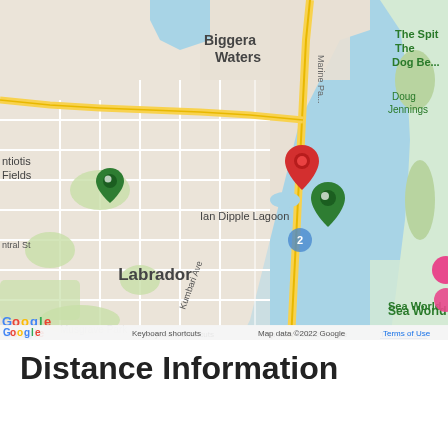[Figure (map): Google Maps screenshot showing the Labrador area in Gold Coast, Queensland, Australia. Shows Biggera Waters to the north, Ian Dipple Lagoon in the center, Labrador suburb to the left, Marine Parade running north-south along the waterfront. A red location pin marks a point near Ian Dipple Lagoon, and a green pin marks Ian Dipple Lagoon itself. The Broadwater (blue water body) is visible to the east. The Spit, Dog Beach, Doug Jennings, Sea World Resort, and Sea World are partially visible on the right. Map controls (Street View person icon, zoom in/out buttons) are visible in the bottom right. Google logo is in the bottom left. Map data copyright 2022 Google.]
Distance Information